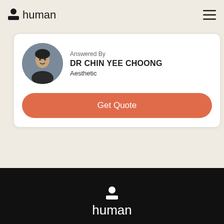human
Answered By
DR CHIN YEE CHOONG
Aesthetic
Get Quote
human